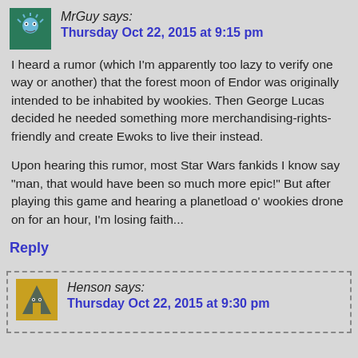MrGuy says:
Thursday Oct 22, 2015 at 9:15 pm
I heard a rumor (which I'm apparently too lazy to verify one way or another) that the forest moon of Endor was originally intended to be inhabited by wookies. Then George Lucas decided he needed something more merchandising-rights-friendly and create Ewoks to live their instead.
Upon hearing this rumor, most Star Wars fankids I know say "man, that would have been so much more epic!" But after playing this game and hearing a planetload o' wookies drone on for an hour, I'm losing faith...
Reply
Henson says:
Thursday Oct 22, 2015 at 9:30 pm